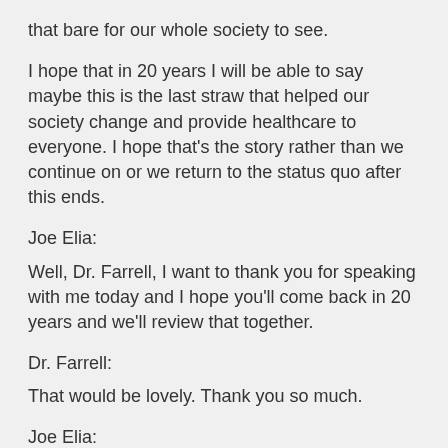that bare for our whole society to see.
I hope that in 20 years I will be able to say maybe this is the last straw that helped our society change and provide healthcare to everyone. I hope that's the story rather than we continue on or we return to the status quo after this ends.
Joe Elia:
Well, Dr. Farrell, I want to thank you for speaking with me today and I hope you'll come back in 20 years and we'll review that together.
Dr. Farrell:
That would be lovely. Thank you so much.
Joe Elia: